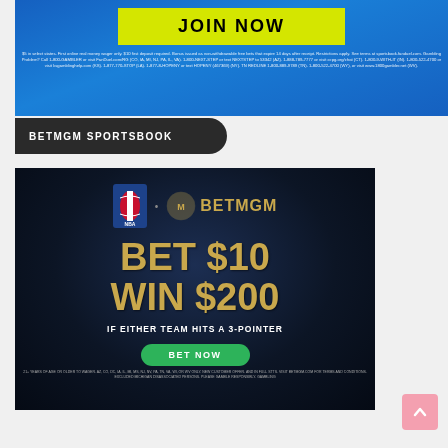[Figure (screenshot): FanDuel sportsbook banner with blue background, yellow JOIN NOW button, and white disclaimer text at bottom]
BETMGM SPORTSBOOK
[Figure (screenshot): BetMGM Sportsbook NBA promotion banner with dark background showing NBA and BetMGM logos, gold text reading BET $10 WIN $200, subtitle IF EITHER TEAM HITS A 3-POINTER, green BET NOW button, and small disclaimer text at bottom]